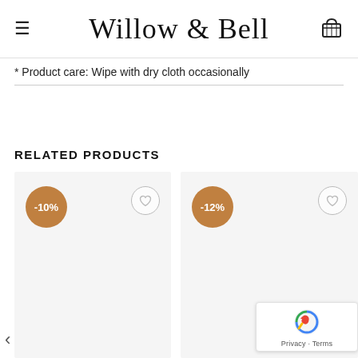Willow & Bell
* Product care: Wipe with dry cloth occasionally
RELATED PRODUCTS
[Figure (other): Product card with -10% discount badge and wishlist heart icon, light gray background]
[Figure (other): Product card with -12% discount badge and wishlist heart icon, light gray background]